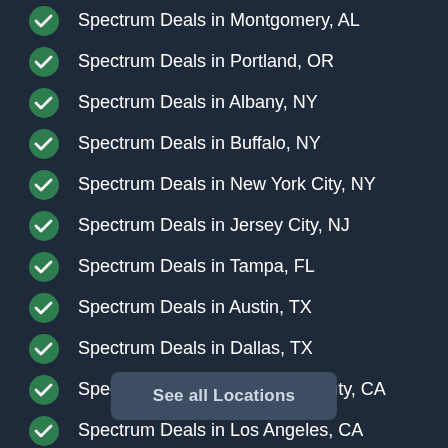Spectrum Deals in Montgomery, AL
Spectrum Deals in Portland, OR
Spectrum Deals in Albany, NY
Spectrum Deals in Buffalo, NY
Spectrum Deals in New York City, NY
Spectrum Deals in Jersey City, NJ
Spectrum Deals in Tampa, FL
Spectrum Deals in Austin, TX
Spectrum Deals in Dallas, TX
Spectrum Deals in Orange County, CA
Spectrum Deals in Los Angeles, CA
Spectrum Deals in San Diego, CA
See all Locations